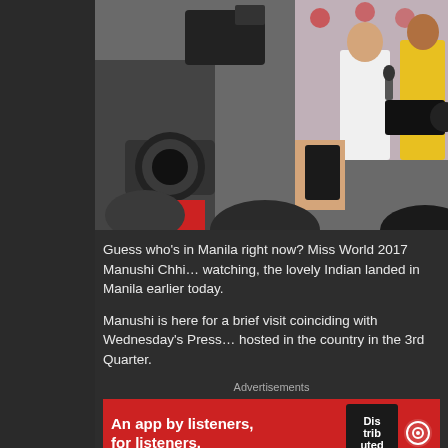[Figure (photo): Press conference scene with multiple photographers and camera crews filming a woman in yellow at a backdrop with logos, in Manila]
Guess who's in Manila right now? Miss World 2017 Manushi Chhi… watching, the lovely Indian landed in Manila earlier today.
Manushi is here for a brief visit coinciding with Wednesday's Press… hosted in the country in the 3rd Quarter.
Advertisements
[Figure (infographic): Red advertisement banner reading 'An app by listeners, for listeners.' with a phone image showing 'Distributed' text and a circular logo icon]